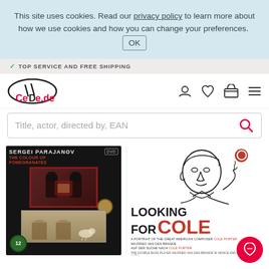This site uses cookies. Read our privacy policy to learn more about how we use cookies and how you can change your preferences. OK
✓ TOP SERVICE AND FREE SHIPPING
[Figure (logo): CeDe.de logo with oval/ellipse and exclamation mark]
Title, actor, directed by, EAN
[Figure (photo): DVD cover: Sergei Parajanov - The Colour of Pomegranates, dark background with red-framed image, age rating 12]
[Figure (illustration): Book cover: Looking for Cole - A portrait of the great American composer Cole Porter, illustration of a man's face and body]